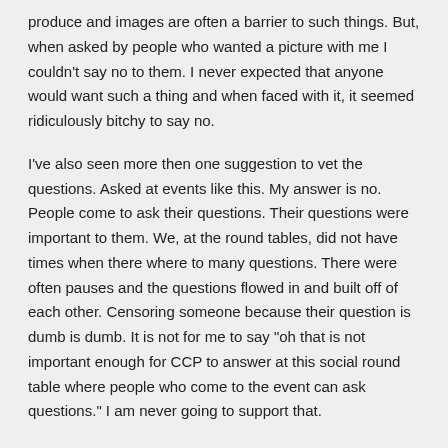produce and images are often a barrier to such things. But, when asked by people who wanted a picture with me I couldn't say no to them. I never expected that anyone would want such a thing and when faced with it, it seemed ridiculously bitchy to say no.
I've also seen more then one suggestion to vet the questions. Asked at events like this. My answer is no. People come to ask their questions. Their questions were important to them. We, at the round tables, did not have times when there where to many questions. There were often pauses and the questions flowed in and built off of each other. Censoring someone because their question is dumb is dumb. It is not for me to say "oh that is not important enough for CCP to answer at this social round table where people who come to the event can ask questions." I am never going to support that.
Edit: I forgot to add that going to the round tables becomes extra useful for me as a CSM member because it lets me know the scope of what I can talk about. Also, ease dropping on player discussions with developers is great for this!
This post isn't as polished as my normal weekly posts. That too is okay. Over the next few days I should be pumping out summaries from the round tables for the